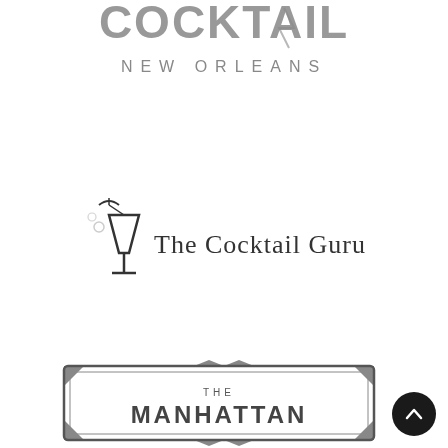[Figure (logo): Cocktail logo with stylized text and 'NEW ORLEANS' subtitle in gray]
[Figure (logo): The Cocktail Guru logo with a cocktail glass icon and umbrella, text reads 'The Cocktail Guru']
[Figure (logo): The Manhattan logo in a decorative badge/banner frame, text reads 'THE MANHATTAN']